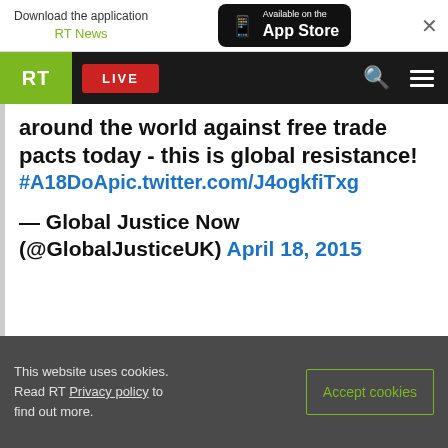[Figure (screenshot): App Store download banner with RT News label and phone icon]
[Figure (screenshot): RT News navigation bar with green RT logo, red LIVE button, search and menu icons]
around the world against free trade pacts today - this is global resistance! #A18DoApic.twitter.com/J4ogkfiTxg
— Global Justice Now (@GlobalJusticeUK) April 18, 2015
This website uses cookies. Read RT Privacy policy to find out more.